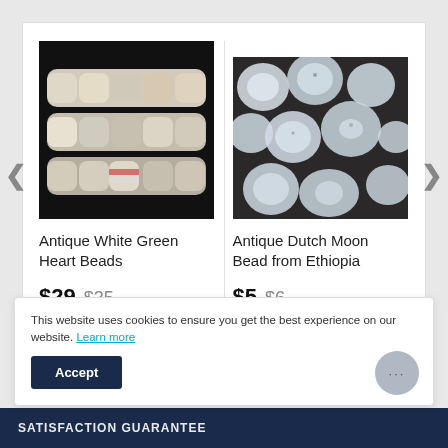[Figure (photo): Strands of antique white green heart beads on black background]
Antique White Green Heart Beads
$29 $35
[Figure (photo): Antique Dutch moon beads from Ethiopia, round translucent beads on dark background]
Antique Dutch Moon Bead from Ethiopia
$5 $6
This website uses cookies to ensure you get the best experience on our website. Learn more
Accept